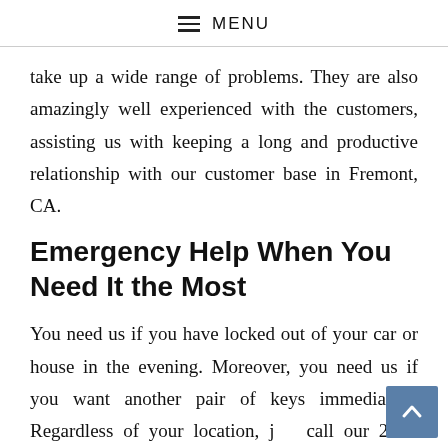≡ MENU
take up a wide range of problems. They are also amazingly well experienced with the customers, assisting us with keeping a long and productive relationship with our customer base in Fremont, CA.
Emergency Help When You Need It the Most
You need us if you have locked out of your car or house in the evening. Moreover, you need us if you want another pair of keys immediately. Regardless of your location, just call our 24×7 emergency service, and we will dispatch our team to deal with your issues. Do